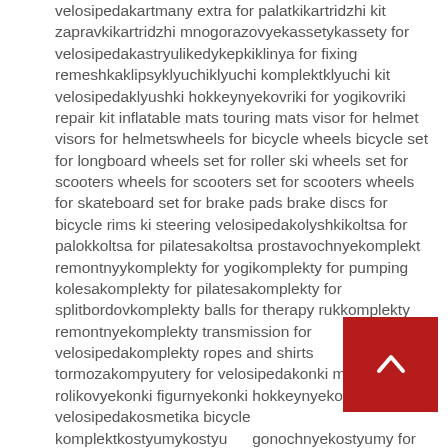velosipedakartmany extra for palatkikartridzhi kit zapravkikartridzhi mnogorazovyekassetykassety for velosipedakastryulikedykepkiklinya for fixing remeshkaklipsyklyuchiklyuchi komplektklyuchi kit velosipedaklyushki hokkeynyekovriki for yogikovriki repair kit inflatable mats touring mats visor for helmet visors for helmetswheels for bicycle wheels bicycle set for longboard wheels set for roller ski wheels set for scooters wheels for scooters set for scooters wheels for skateboard set for brake pads brake discs for bicycle rims ki steering velosipedakolyshkikoltsa for palokkoltsa for pilatesakoltsa prostavochnyekomplekt remontnyykomplekty for yogikomplekty for pumping kolesakomplekty for pilatesakomplekty for splitbordovkomplekty balls for therapy rukkomplekty remontnyekomplekty transmission for velosipedakomplekty ropes and shirts tormozakompyutery for velosipedakonki myagkiekonki rolikovyekonki figurnyekonki hokkeynyekorziny for velosipedakosmetika bicycle komplektkostyumykostyumy gonochnyekostyumy for plavaniyakostyumy sportivnyekostyumy termobelekofty flisovyekoshelkikoshki ledovyekrepezhi for plavnikovkrepleniya for cross-country skiing ski mounts alpine ski mounts snowboard mounts splitboard mounts splitboard
[Figure (other): Dark red back-to-top button with a white upward chevron arrow]